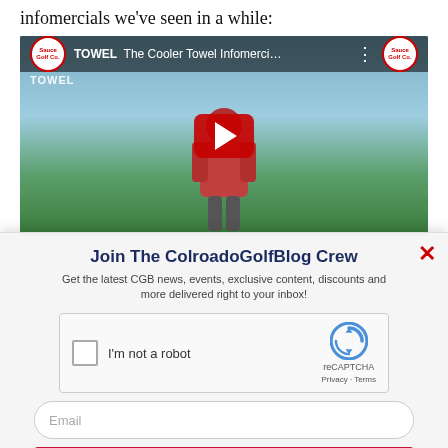infomercials we've seen in a while:
[Figure (screenshot): YouTube video thumbnail for 'The Cooler Towel Infomerci...' by Sauce Golf Co., showing a man in a red jacket on a golf course with a YouTube play button overlay.]
Join The ColroadoGolfBlog Crew
Get the latest CGB news, events, exclusive content, discounts and more delivered right to your inbox!
[Figure (screenshot): reCAPTCHA widget with checkbox labeled 'I'm not a robot' and reCAPTCHA logo with Privacy and Terms links.]
Email
SUBSCRIBE